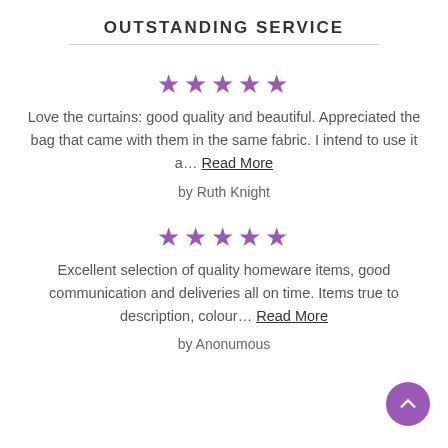OUTSTANDING SERVICE
★★★★★
Love the curtains: good quality and beautiful. Appreciated the bag that came with them in the same fabric. I intend to use it a… Read More
by Ruth Knight
★★★★★
Excellent selection of quality homeware items, good communication and deliveries all on time. Items true to description, colour… Read More
by Anonumous